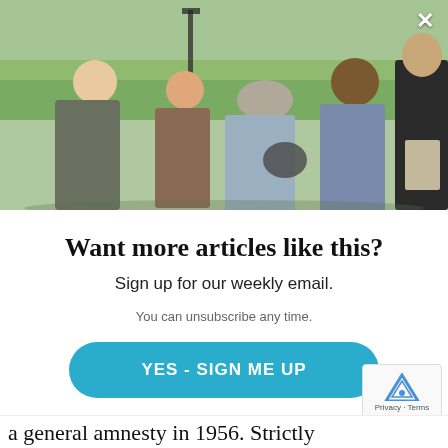[Figure (photo): Group of six people standing outdoors in a park-like setting, talking and socializing. Trees and a lamp post visible in background. Overcast sky.]
Want more articles like this?
Sign up for our weekly email.
You can unsubscribe any time.
YES - SIGN ME UP
NO THANKS
a general amnesty in 1956. Strictly